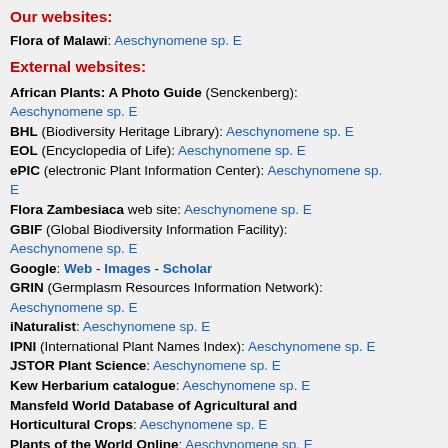Our websites:
Flora of Malawi: Aeschynomene sp. E
External websites:
African Plants: A Photo Guide (Senckenberg): Aeschynomene sp. E
BHL (Biodiversity Heritage Library): Aeschynomene sp. E
EOL (Encyclopedia of Life): Aeschynomene sp. E
ePIC (electronic Plant Information Center): Aeschynomene sp. E
Flora Zambesiaca web site: Aeschynomene sp. E
GBIF (Global Biodiversity Information Facility): Aeschynomene sp. E
Google: Web - Images - Scholar
GRIN (Germplasm Resources Information Network): Aeschynomene sp. E
iNaturalist: Aeschynomene sp. E
IPNI (International Plant Names Index): Aeschynomene sp. E
JSTOR Plant Science: Aeschynomene sp. E
Kew Herbarium catalogue: Aeschynomene sp. E
Mansfeld World Database of Agricultural and Horticultural Crops: Aeschynomene sp. E
Plants of the World Online: Aeschynomene sp. E
Tropicos: Aeschynomene sp. E